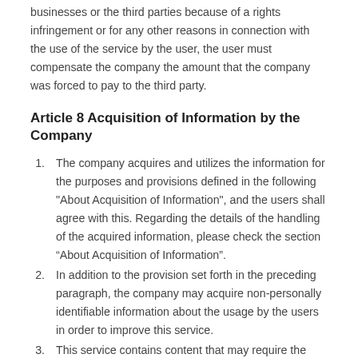businesses or the third parties because of a rights infringement or for any other reasons in connection with the use of the service by the user, the user must compensate the company the amount that the company was forced to pay to the third party.
Article 8 Acquisition of Information by the Company
The company acquires and utilizes the information for the purposes and provisions defined in the following "About Acquisition of Information", and the users shall agree with this. Regarding the details of the handling of the acquired information, please check the section “About Acquisition of Information”.
In addition to the provision set forth in the preceding paragraph, the company may acquire non-personally identifiable information about the usage by the users in order to improve this service.
This service contains content that may require the input of certain information such as menstrual period, basal body temperature, weight, etc. (hereinafter referred as "health management information"). In the event that a service requires the input of health management information, the users consent that such